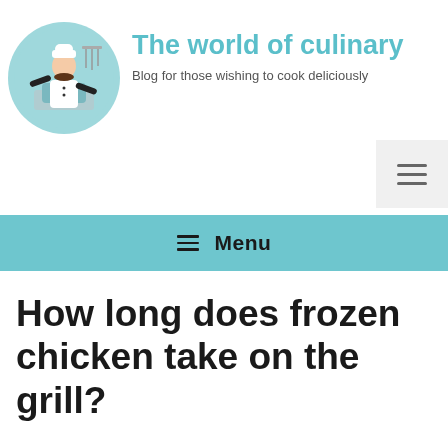[Figure (logo): Circular logo with a cartoon female chef in white uniform cooking, on a teal/light blue background with kitchen utensils]
The world of culinary
Blog for those wishing to cook deliciously
≡ Menu
How long does frozen chicken take on the grill?